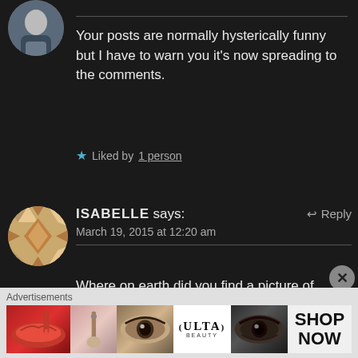[Figure (photo): Circular avatar of a person in a suit, partially visible at top left]
Your posts are normally hysterically funny but I have to warn you it's now spreading to the comments.
★ Liked by 1 person
[Figure (illustration): Circular avatar with geometric diamond/chevron pattern in tan and brown]
ISABELLE says:     ↩ Reply
March 19, 2015 at 12:20 am
Where on earth did you find a picture of Angelina Jolie wearing a moustache AND with what appears
Advertisements
[Figure (photo): Advertisement banner for ULTA beauty showing lips, makeup brush, eye, ULTA logo, eye closeup, and SHOP NOW text]